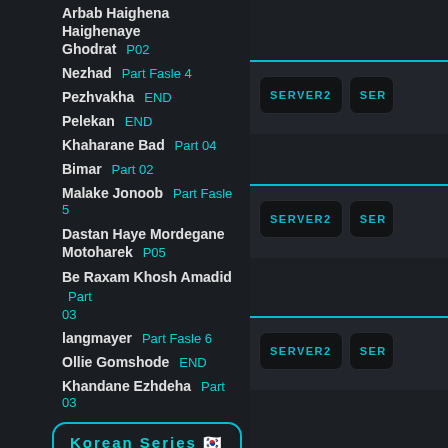Arbab Haighena Haighenaye Ghodrat  P02
Nezhad  Part Fasle 4
Pezhvakha  END
Pelekan  END
Khaharane Bad  Part 04
Bimar  Part 02
Malake Jonoob  Part Fasle 5
Dastan Haye Mordegane Motoharek  P05
Be Raxam Khosh Amadid  Part 03
langmayer  Part Fasle 6
Ollie Gomshode  END
Khandane Ezhdeha  Part 03
Korean Series 🇰🇷
Vakile Fogholade Woo  END